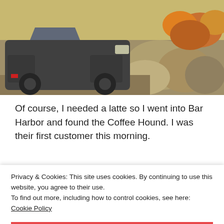[Figure (photo): Motorcycle parked near rocks and autumn foliage, outdoor scenic setting.]
Of course, I needed a latte so I went into Bar Harbor and found the Coffee Hound. I was their first customer this morning.
[Figure (photo): Coffee cup with latte art on a colorful background with blue sky.]
Privacy & Cookies: This site uses cookies. By continuing to use this website, you agree to their use.
To find out more, including how to control cookies, see here:
Cookie Policy
CLOSE AND ACCEPT